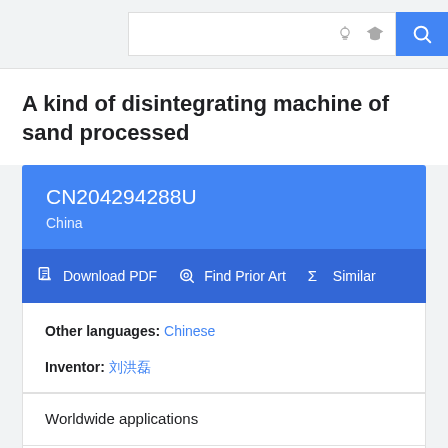Search bar with light bulb icon, graduation cap icon, and search button
A kind of disintegrating machine of sand processed
CN204294288U
China
Download PDF  Find Prior Art  Similar
Other languages: Chinese
Inventor: 刘洪磊
Worldwide applications
2014  CN